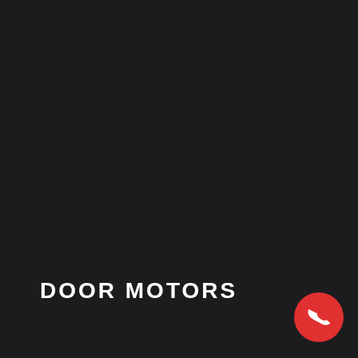[Figure (photo): Dark background image, nearly black with subtle texture, covering the entire page]
DOOR MOTORS
[Figure (other): Red circular phone/call button icon with white handset symbol, positioned in bottom right corner]